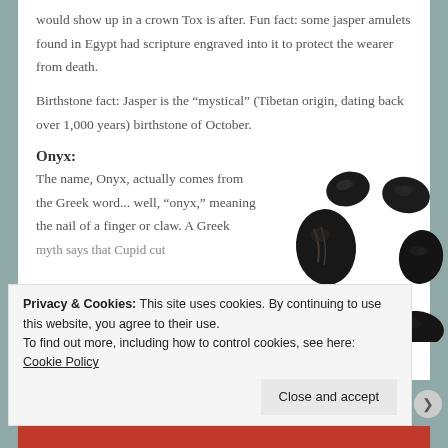would show up in a crown Tox is after. Fun fact: some jasper amulets found in Egypt had scripture engraved into it to protect the wearer from death.
Birthstone fact: Jasper is the “mystical” (Tibetan origin, dating back over 1,000 years) birthstone of October.
Onyx:
The name, Onyx, actually comes from the Greek word... well, “onyx,” meaning the nail of a finger or claw. A Greek myth says that Cupid cut
[Figure (photo): Several tumbled black onyx stones scattered on a white background]
Privacy & Cookies: This site uses cookies. By continuing to use this website, you agree to their use.
To find out more, including how to control cookies, see here: Cookie Policy
Close and accept